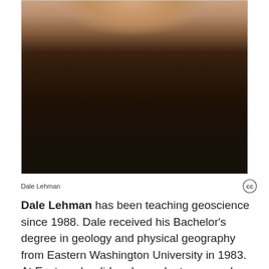[Figure (photo): Headshot photograph of Dale Lehman, a man wearing a dark brown/black collared shirt, photographed from roughly chest level up.]
Dale Lehman
Dale Lehman has been teaching geoscience since 1988. Dale received his Bachelor's degree in geology and physical geography from Eastern Washington University in 1983. At Eastern, he did undergraduate research with Mike Folsom on the effects on St. Helen's ash on Palouse soils. After receiving his Bachelor's degree, Dale worked as an assistant in the department of physical geography, managing the campus weather station, teaching classes, and working in the